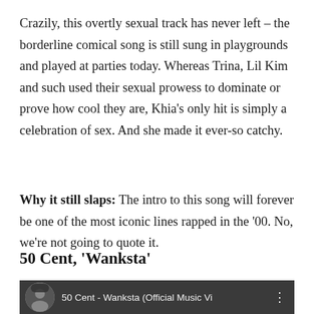Crazily, this overtly sexual track has never left – the borderline comical song is still sung in playgrounds and played at parties today. Whereas Trina, Lil Kim and such used their sexual prowess to dominate or prove how cool they are, Khia's only hit is simply a celebration of sex. And she made it ever-so catchy.
Why it still slaps: The intro to this song will forever be one of the most iconic lines rapped in the '00. No, we're not going to quote it.
50 Cent, 'Wanksta'
[Figure (screenshot): YouTube video thumbnail showing 50 Cent - Wanksta (Official Music Vi...) with a circular avatar of 50 Cent on the left]